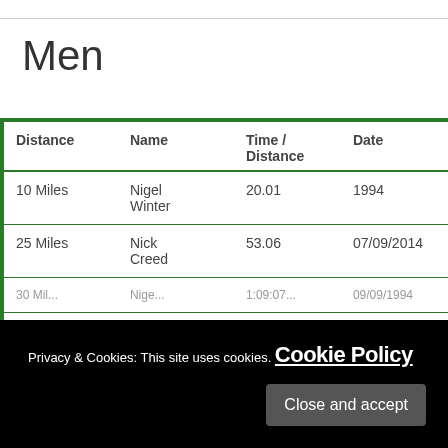Men
| Distance | Name | Time / Distance | Date |
| --- | --- | --- | --- |
| 10 Miles | Nigel Winter | 20.01 | 1994 |
| 25 Miles | Nick Creed | 53.06 | 07/09/2014 |
| 30 Miles (partial) | Nigel ... | 1:09:07... | 09/09/1994... |
|  | Smith |  |  |
Privacy & Cookies: This site uses cookies. Cookie Policy